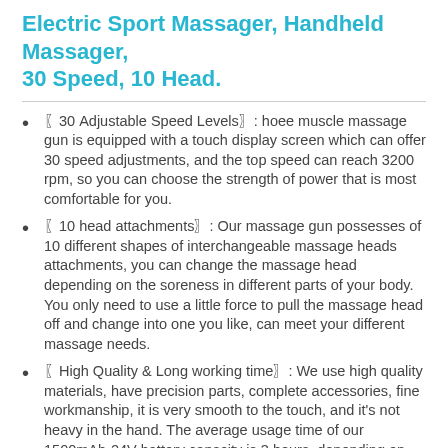Electric Sport Massager, Handheld Massager, 30 Speed, 10 Head.
〖30 Adjustable Speed Levels〗: hoee muscle massage gun is equipped with a touch display screen which can offer 30 speed adjustments, and the top speed can reach 3200 rpm, so you can choose the strength of power that is most comfortable for you.
〖10 head attachments〗: Our massage gun possesses of 10 different shapes of interchangeable massage heads attachments, you can change the massage head depending on the soreness in different parts of your body. You only need to use a little force to pull the massage head off and change into one you like, can meet your different massage needs.
〖High Quality & Long working time〗: We use high quality materials, have precision parts, complete accessories, fine workmanship, it is very smooth to the touch, and it's not heavy in the hand. The average usage time of our 1500mAh-24V battery capacity is 3 hours, depending on the speed and pressure level you are using.